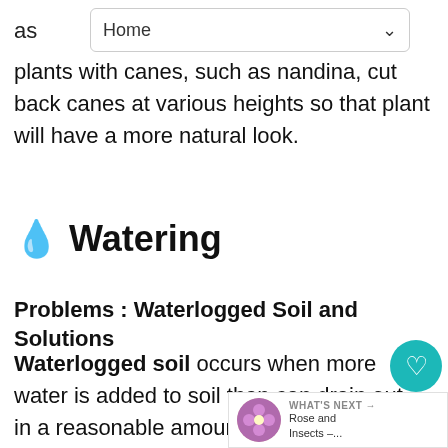as  Home
plants with canes, such as nandina, cut back canes at various heights so that plant will have a more natural look.
💧 Watering
Problems : Waterlogged Soil and Solutions
Waterlogged soil occurs when more water is added to soil than can drain out in a reasonable amount of time. This can be a severe problem where water tables are high soils are compacted. Lack of air space in waterlogged soil makes it almost impossible for